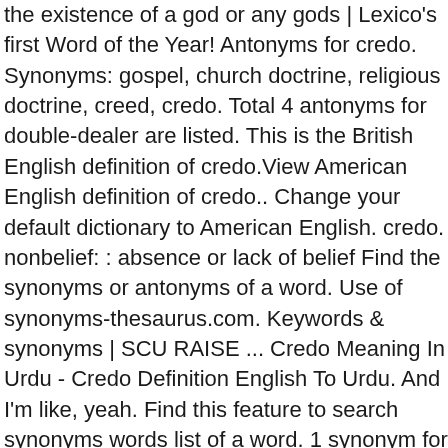the existence of a god or any gods | Lexico's first Word of the Year! Antonyms for credo. Synonyms: gospel, church doctrine, religious doctrine, creed, credo. Total 4 antonyms for double-dealer are listed. This is the British English definition of credo.View American English definition of credo.. Change your default dictionary to American English. credo. nonbelief: : absence or lack of belief Find the synonyms or antonyms of a word. Use of synonyms-thesaurus.com. Keywords & synonyms | SCU RAISE ... Credo Meaning In Urdu - Credo Definition English To Urdu. And I'm like, yeah. Find this feature to search synonyms words list of a word. 1 synonym for credo: creed. Ideology Synonyms | Collins English Thesaurus. Synonyms For Stiff Necked Antonyms For Stiff Necked. An antonym is a word, adjective, verb or expression whose meaning is opposite to that of a word. Find all the synonyms and alternative words for credo at Synonyms.com, the largest free online thesaurus, antonyms, definitions and translations resource on the web. Vi fandt 19 synonymer for credo. cred | definition: credibility among young fashionable urban individuals | synonyms: street credibility, street cred, credibility, believability